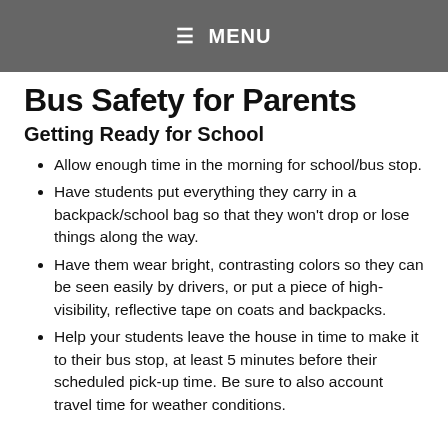≡  MENU
Bus Safety for Parents
Getting Ready for School
Allow enough time in the morning for school/bus stop.
Have students put everything they carry in a backpack/school bag so that they won't drop or lose things along the way.
Have them wear bright, contrasting colors so they can be seen easily by drivers, or put a piece of high-visibility, reflective tape on coats and backpacks.
Help your students leave the house in time to make it to their bus stop, at least 5 minutes before their scheduled pick-up time. Be sure to also account travel time for weather conditions.